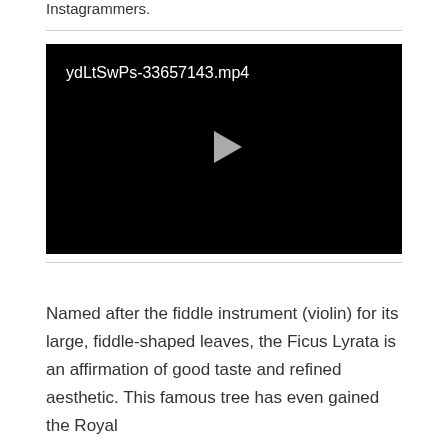Instagrammers.
[Figure (screenshot): Video player with black background showing filename 'ydLtSwPs-33657143.mp4' and a play button in the center]
Named after the fiddle instrument (violin) for its large, fiddle-shaped leaves, the Ficus Lyrata is an affirmation of good taste and refined aesthetic. This famous tree has even gained the Royal